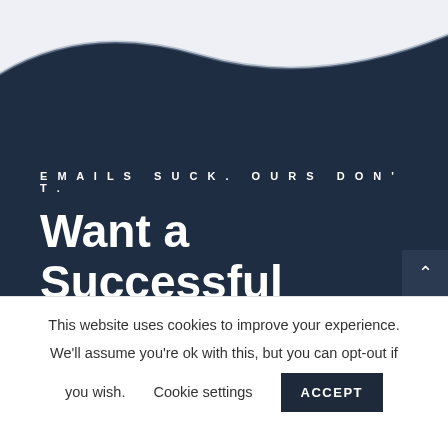[Figure (illustration): Dark navy curved banner/hero section background with light gray top area visible above the curve]
EMAILS SUCK. OURS DON'T.
Want a Successful Brand? Start Doing
This website uses cookies to improve your experience. We'll assume you're ok with this, but you can opt-out if you wish.
Cookie settings
ACCEPT